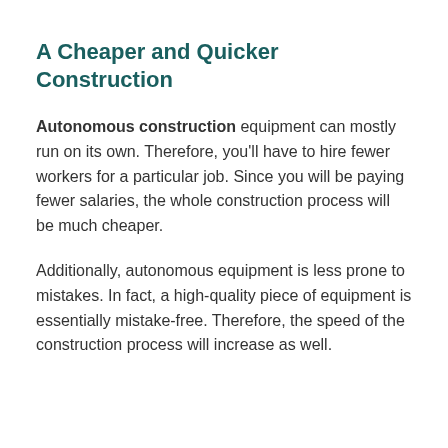A Cheaper and Quicker Construction
Autonomous construction equipment can mostly run on its own. Therefore, you'll have to hire fewer workers for a particular job. Since you will be paying fewer salaries, the whole construction process will be much cheaper.
Additionally, autonomous equipment is less prone to mistakes. In fact, a high-quality piece of equipment is essentially mistake-free. Therefore, the speed of the construction process will increase as well.